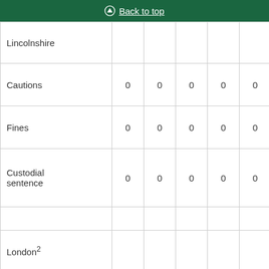Back to top
|  |  |  |  |  |  |
| --- | --- | --- | --- | --- | --- |
| Lincolnshire |  |  |  |  |  |
| Cautions | 0 | 0 | 0 | 0 | 0 |
| Fines | 0 | 0 | 0 | 0 | 0 |
| Custodial sentence | 0 | 0 | 0 | 0 | 0 |
|  |  |  |  |  |  |
| London² |  |  |  |  |  |
| Cautions | 0 | 0 | 0 | 0 | 0 |
| Fines | 2 | 1 | 0 | 1 | 3 |
| Custodial sentence | 0 | 0 | 0 | 0 | 0 |